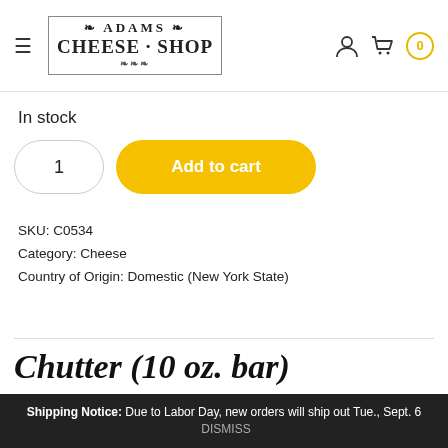Adams Cheese Shop — navigation header with hamburger menu, logo, user icon, cart icon, cart badge 0
In stock
1  Add to cart
SKU: C0534
Category: Cheese
Country of Origin: Domestic (New York State)
Chutter (10 oz. bar)
Shipping Notice: Due to Labor Day, new orders will ship out Tue., Sept. 6  DISMISS